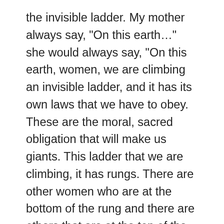the invisible ladder. My mother always say, "On this earth..." she would always say, "On this earth, women, we are climbing an invisible ladder, and it has its own laws that we have to obey. These are the moral, sacred obligation that will make us giants. This ladder that we are climbing, it has rungs. There are other women who are at the bottom of the rung and there are others that are at the top of the rung. And it does not mean that those that are at the bottom... at the bottom of the rung are poor or they are not smart. No, it only means that those who are at the top, they have a moral obligation to pull our sisters who are at